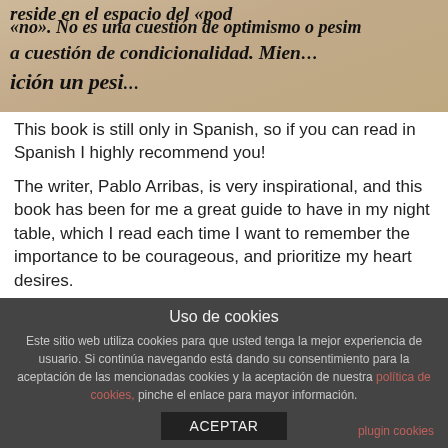[Figure (photo): A photograph of a book page with Spanish text in bold italic serif font, showing partial lines: 'no». No es una cuestión de optimismo o pesim', 'a cuestión de condicionalidad. Mien...', 'ción un pesi...' The background is warm beige/cream (book page color).]
This book is still only in Spanish, so if you can read in Spanish I highly recommend you!
The writer, Pablo Arribas, is very inspirational, and this book has been for me a great guide to have in my night table, which I read each time I want to remember the importance to be courageous, and prioritize my heart desires.
It is about 50 thoughts, as the writer resume, to love and growth as brave persons.
That is the reason I want to share with you, because for me, this book has contributed to
Uso de cookies
Este sitio web utiliza cookies para que usted tenga la mejor experiencia de usuario. Si continúa navegando está dando su consentimiento para la aceptación de las mencionadas cookies y la aceptación de nuestra política de cookies, pinche el enlace para mayor información.
ACEPTAR
plugin cookies